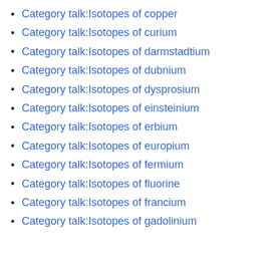Category talk:Isotopes of copper
Category talk:Isotopes of curium
Category talk:Isotopes of darmstadtium
Category talk:Isotopes of dubnium
Category talk:Isotopes of dysprosium
Category talk:Isotopes of einsteinium
Category talk:Isotopes of erbium
Category talk:Isotopes of europium
Category talk:Isotopes of fermium
Category talk:Isotopes of fluorine
Category talk:Isotopes of francium
Category talk:Isotopes of gadolinium